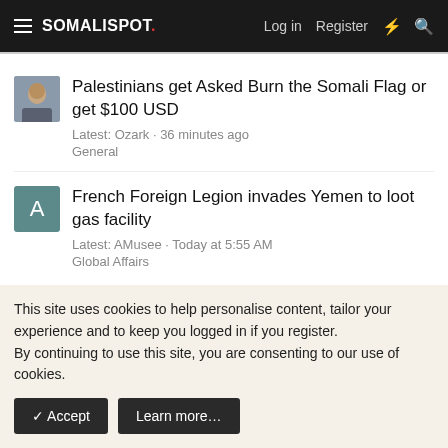SOMALISPOT. Log in Register
Palestinians get Asked Burn the Somali Flag or get $100 USD
Latest: Ozark · 36 minutes ago
General
French Foreign Legion invades Yemen to loot gas facility
Latest: AMusee · Today at 5:55 AM
Global Affairs
< General
Style chooser   Change to dark
This site uses cookies to help personalise content, tailor your experience and to keep you logged in if you register.
By continuing to use this site, you are consenting to our use of cookies.
✓ Accept   Learn more…